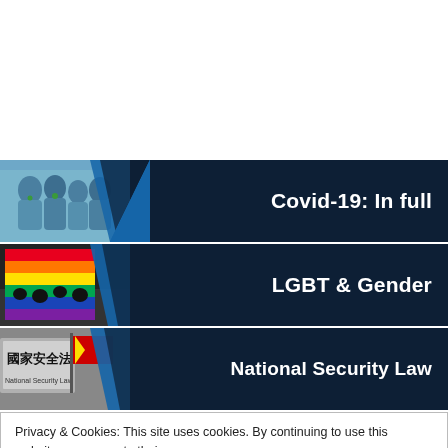[Figure (photo): Banner with people in blue hazmat suits on left, dark navy background with white bold text 'Covid-19: In full' on right]
[Figure (photo): Banner with crowd holding rainbow LGBT pride flag on left, dark navy background with white bold text 'LGBT & Gender' on right]
[Figure (photo): Banner with National Security Law sign and red flag on left, dark navy background with white bold text 'National Security Law' on right]
Privacy & Cookies: This site uses cookies. By continuing to use this website, you agree to their use.
To find out more, including how to control cookies, see here: Cookie Policy
Close and accept
FEATURES & INTERVIEWS